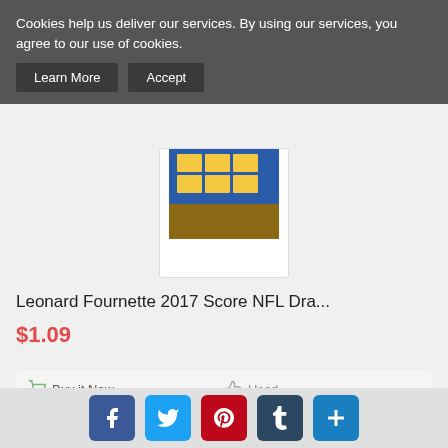Cookies help us deliver our services. By using our services, you agree to our use of cookies.
Learn More | Accept
[Figure (photo): Partial product card image showing NFL trading card]
Leonard Fournette 2017 Score NFL Dra...
$1.09
Buy it Now | Used | 1 Day(s) 19 h(s) | Worldwide | 1 day | Easy Returns
Buy it Now
[Figure (photo): Second product card thumbnail]
Social share buttons: Facebook, Twitter, Pinterest, Tumblr, More